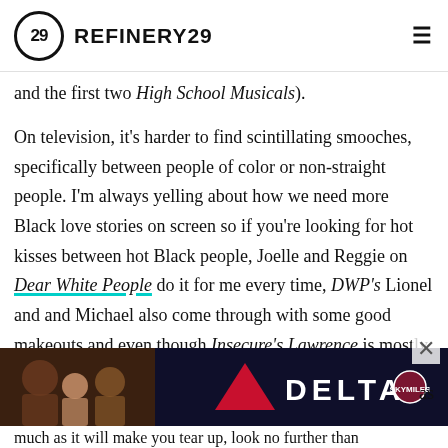REFINERY29
and the first two High School Musicals).
On television, it's harder to find scintillating smooches, specifically between people of color or non-straight people. I'm always yelling about how we need more Black love stories on screen so if you're looking for hot kisses between hot Black people, Joelle and Reggie on Dear White People do it for me every time, DWP's Lionel and and Michael also come through with some good makeouts and even though Insecure's Lawrence is mostly a wasteman, he and Issa are oozing with chemistry — I'm still team Daniel though (those Season 1 and 2 kisses are undefeated). I'm also all about the Spencer/Olivia/Layla love triangle on All Ameri... as much as it will make you tear up, look no further than
[Figure (photo): Delta Airlines advertisement banner with photo of people and Delta logo]